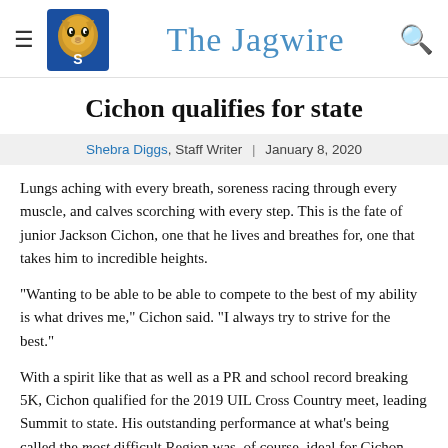The Jagwire
Cichon qualifies for state
Shebra Diggs, Staff Writer | January 8, 2020
Lungs aching with every breath, soreness racing through every muscle, and calves scorching with every step. This is the fate of junior Jackson Cichon, one that he lives and breathes for, one that takes him to incredible heights.
"Wanting to be able to be able to compete to the best of my ability is what drives me," Cichon said. "I always try to strive for the best."
With a spirit like that as well as a PR and school record breaking 5K, Cichon qualified for the 2019 UIL Cross Country meet, leading Summit to state. His outstanding performance at what's being called the most difficult Region was, of course, ideal for Cichon, who had high goals for